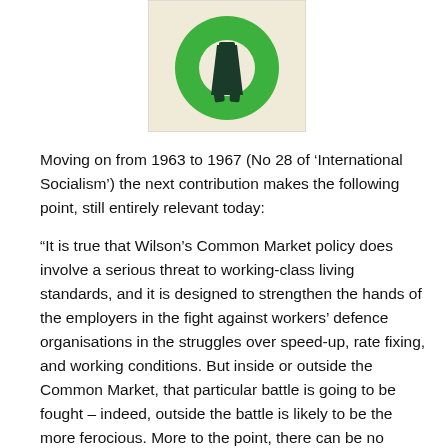[Figure (illustration): Book cover or logo image with a green circular shape and a dark figure/letter on a cream/beige background]
Moving on from 1963 to 1967 (No 28 of 'International Socialism') the next contribution makes the following point, still entirely relevant today:
“It is true that Wilson’s Common Market policy does involve a serious threat to working-class living standards, and it is designed to strengthen the hands of the employers in the fight against workers’ defence organisations in the struggles over speed-up, rate fixing, and working conditions. But inside or outside the Common Market, that particular battle is going to be fought – indeed, outside the battle is likely to be the more ferocious. More to the point, there can be no positive class or socialist response based upon the defense of ‘our’